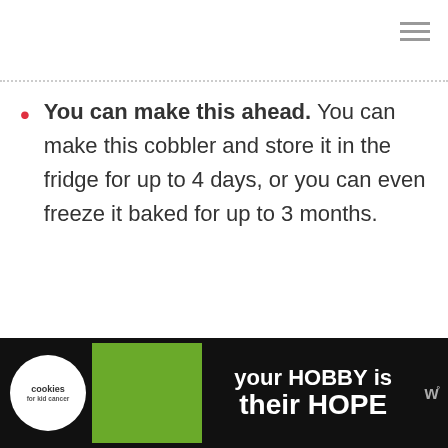[Figure (other): Hamburger menu icon (three horizontal lines) in top-right corner]
You can make this ahead. You can make this cobbler and store it in the fridge for up to 4 days, or you can even freeze it baked for up to 3 months.
[Figure (other): Advertisement banner at the bottom: Cookies for Kid's Cancer logo with hands holding a heart cookie, text 'your HOBBY is their HOPE', and Whisk logo]